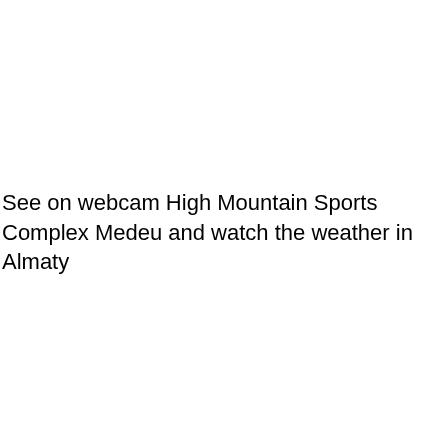See on webcam High Mountain Sports Complex Medeu and watch the weather in Almaty